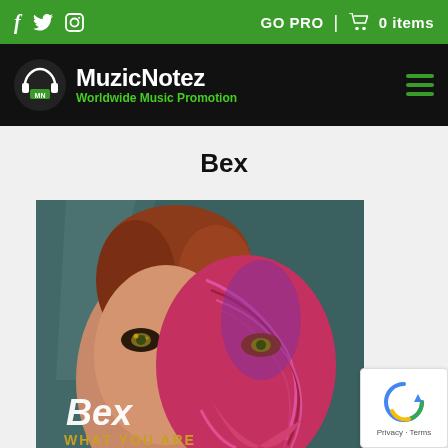f  Twitter  Instagram  |  GO PRO  |  cart  0 items
[Figure (logo): MuzicNotez logo with headphones icon, white text 'MuzicNotez' and green tagline 'Worldwide Music Promotion' on black background, with green hamburger menu icon on right]
Bex
[Figure (photo): Album art for Bex 'What You Are' — a woman's face half normal and half anatomical muscle illustration in pink/magenta tones with text 'Bex' and 'WHAT YOU ARE' at bottom]